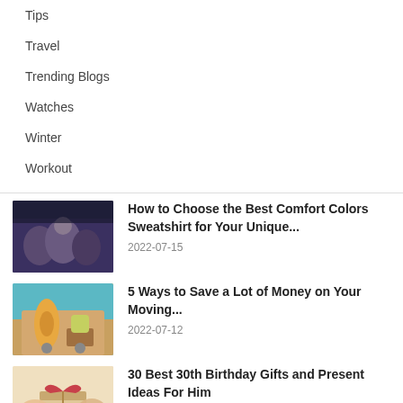Tips
Travel
Trending Blogs
Watches
Winter
Workout
How to Choose the Best Comfort Colors Sweatshirt for Your Unique...
2022-07-15
5 Ways to Save a Lot of Money on Your Moving...
2022-07-12
30 Best 30th Birthday Gifts and Present Ideas For Him